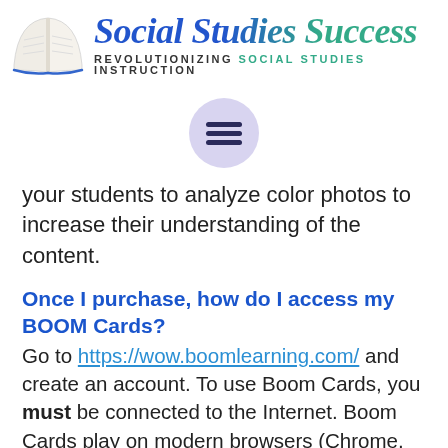[Figure (logo): Social Studies Success logo with open book illustration and script text reading 'Social Studies Success' with subtitle 'REVOLUTIONIZING SOCIAL STUDIES INSTRUCTION']
[Figure (other): Hamburger menu icon — three horizontal lines inside a light purple circle]
your students to analyze color photos to increase their understanding of the content.
Once I purchase, how do I access my BOOM Cards?
Go to https://wow.boomlearning.com/ and create an account. To use Boom Cards, you must be connected to the Internet. Boom Cards play on modern browsers (Chrome, Safari, Firefox, and Edge). Apps are available for